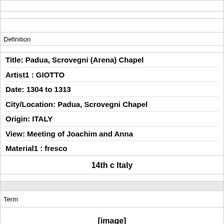Definition
Title: Padua, Scrovegni (Arena) Chapel
Artist1 : GIOTTO
Date: 1304 to 1313
City/Location: Padua, Scrovegni Chapel
Origin: ITALY
View: Meeting of Joachim and Anna
Material1 : fresco
14th c Italy
Term
[Figure (other): [image]]